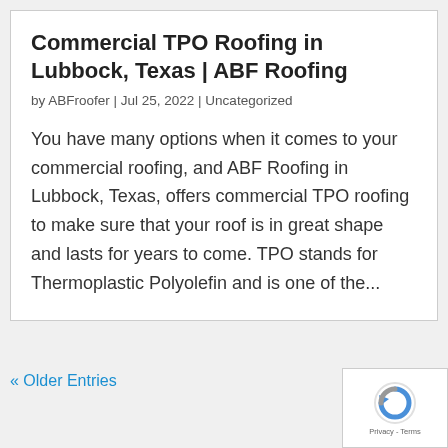Commercial TPO Roofing in Lubbock, Texas | ABF Roofing
by ABFroofer | Jul 25, 2022 | Uncategorized
You have many options when it comes to your commercial roofing, and ABF Roofing in Lubbock, Texas, offers commercial TPO roofing to make sure that your roof is in great shape and lasts for years to come. TPO stands for Thermoplastic Polyolefin and is one of the...
« Older Entries
[Figure (logo): reCAPTCHA badge with spinning logo and Privacy - Terms text]